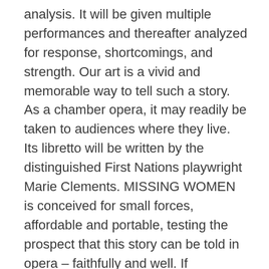analysis. It will be given multiple performances and thereafter analyzed for response, shortcomings, and strength. Our art is a vivid and memorable way to tell such a story. As a chamber opera, it may readily be taken to audiences where they live. Its libretto will be written by the distinguished First Nations playwright Marie Clements. MISSING WOMEN is conceived for small forces, affordable and portable, testing the prospect that this story can be told in opera – faithfully and well. If successful, it will be a breakthrough in the art, and in the community.